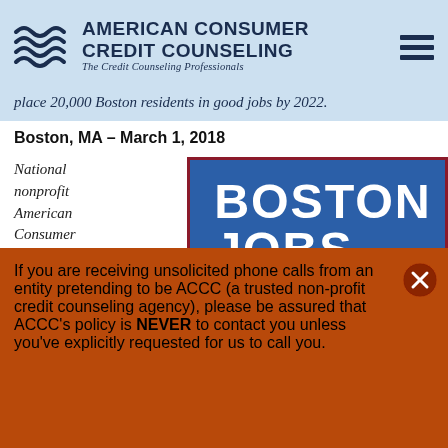[Figure (logo): American Consumer Credit Counseling logo with wave graphic on blue background, hamburger menu icon on right]
place 20,000 Boston residents in good jobs by 2022.
Boston, MA – March 1, 2018
National nonprofit American Consumer
[Figure (screenshot): Boston Jobs sign with blue background and white bold text reading BOSTON JOBS]
If you are receiving unsolicited phone calls from an entity pretending to be ACCC (a trusted non-profit credit counseling agency), please be assured that ACCC's policy is NEVER to contact you unless you've explicitly requested for us to call you.